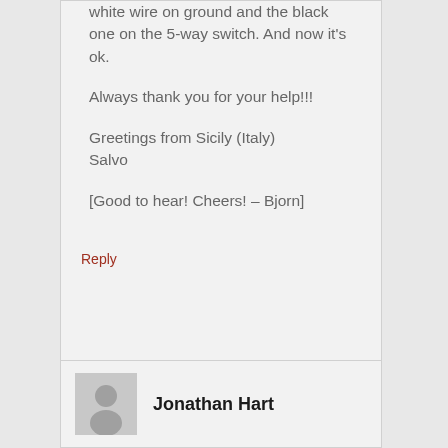white wire on ground and the black one on the 5-way switch. And now it's ok.
Always thank you for your help!!!
Greetings from Sicily (Italy)
Salvo
[Good to hear! Cheers! – Bjorn]
Reply
Jonathan Hart